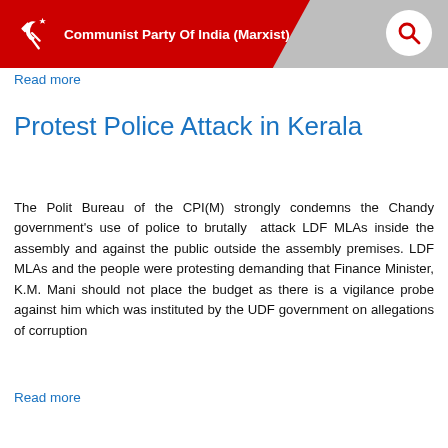Communist Party Of India (Marxist)
Read more
Protest Police Attack in Kerala
The Polit Bureau of the CPI(M) strongly condemns the Chandy government's use of police to brutally attack LDF MLAs inside the assembly and against the public outside the assembly premises. LDF MLAs and the people were protesting demanding that Finance Minister, K.M. Mani should not place the budget as there is a vigilance probe against him which was instituted by the UDF government on allegations of corruption
Read more